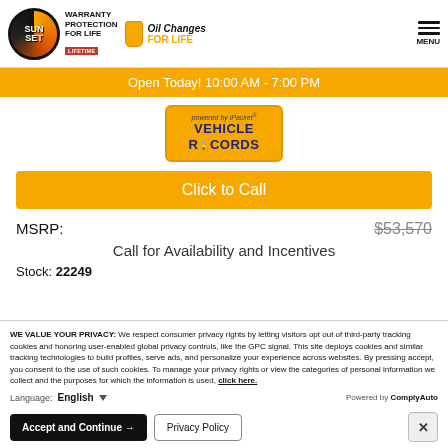Sunset | Warranty Protection For Life LIFETIME | Oil Changes FOR LIFE | MENU
Open Today! 10:00 AM - 7:00 PM
[Figure (logo): iPacket Vehicle Records badge in orange/gold color]
Click to Call
MSRP: $53,570
Call for Availability and Incentives
Stock: 22249
WE VALUE YOUR PRIVACY: We respect consumer privacy rights by letting visitors opt out of third-party tracking cookies and honoring user-enabled global privacy controls, like the GPC signal. This site deploys cookies and similar tracking technologies to build profiles, serve ads, and personalize your experience across websites. By pressing accept, you consent to the use of such cookies. To manage your privacy rights or view the categories of personal information we collect and the purposes for which the information is used, click here.
Language: English | Powered by ComplyAuto
Accept and Continue → | Privacy Policy | ×